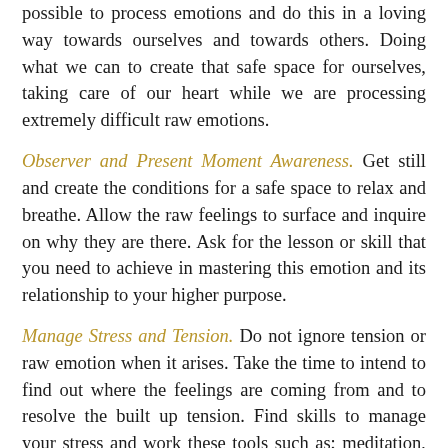possible to process emotions and do this in a loving way towards ourselves and towards others. Doing what we can to create that safe space for ourselves, taking care of our heart while we are processing extremely difficult raw emotions.
Observer and Present Moment Awareness. Get still and create the conditions for a safe space to relax and breathe. Allow the raw feelings to surface and inquire on why they are there. Ask for the lesson or skill that you need to achieve in mastering this emotion and its relationship to your higher purpose.
Manage Stress and Tension. Do not ignore tension or raw emotion when it arises. Take the time to intend to find out where the feelings are coming from and to resolve the built up tension. Find skills to manage your stress and work these tools such as; meditation, breathing, music, massage, soaking in warm water, finding the best ways to relax your mind and body.